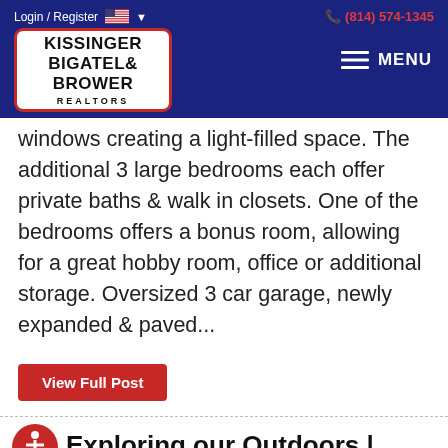Login / Register  (814) 574-1345
[Figure (logo): Kissinger Bigatel & Brower Realtors logo in white box with red border on dark blue navigation bar background]
windows creating a light-filled space. The additional 3 large bedrooms each offer private baths & walk in closets. One of the bedrooms offers a bonus room, allowing for a great hobby room, office or additional storage. Oversized 3 car garage, newly expanded & paved...
View Full Post
Exploring our Outdoors |